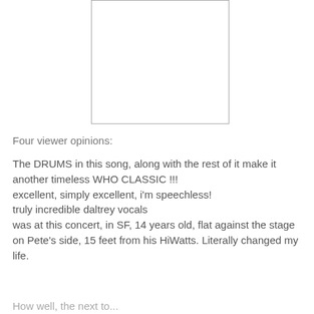[Figure (other): A blank white rectangle with a gray border, representing an image placeholder.]
Four viewer opinions:
The DRUMS in this song, along with the rest of it make it another timeless WHO CLASSIC !!!
excellent, simply excellent, i'm speechless!
truly incredible daltrey vocals
was at this concert, in SF, 14 years old, flat against the stage on Pete's side, 15 feet from his HiWatts. Literally changed my life.
How well, the next to...